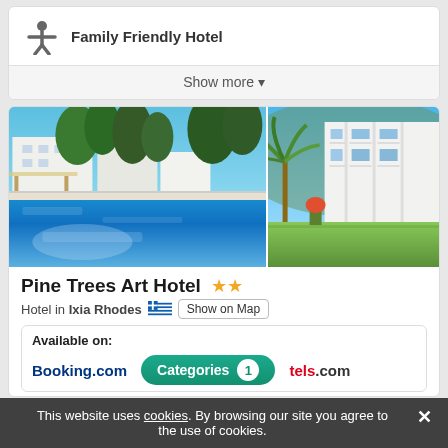Family Friendly Hotel
Show more ▾
[Figure (photo): Two hotel exterior photos: left shows a large outdoor pool with white buildings and trees in background; right shows white hotel buildings with palm trees and green lawn.]
Pine Trees Art Hotel ★★
Hotel in Ixia Rhodes 🇬🇷 Show on Map
Available on:
Booking.com
tels.com
Categories 1
This website uses cookies. By browsing our site you agree to the use of cookies.